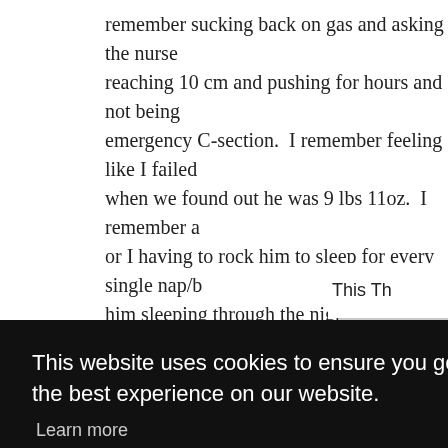remember sucking back on gas and asking the nurse reaching 10 cm and pushing for hours and not being emergency C-section. I remember feeling like I failed when we found out he was 9 lbs 11oz. I remember a or I having to rock him to sleep for every single nap/b him sleeping through the night at 6 months.

Although it felt like a rough start, things got so much b parent....most of the time. I love seeing how he is so This Th
This website uses cookies to ensure you get the best experience on our website.
Learn more
Got it!